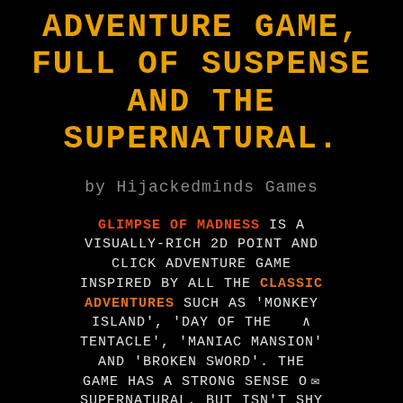ADVENTURE GAME, FULL OF SUSPENSE AND THE SUPERNATURAL.
by Hijackedminds Games
GLIMPSE OF MADNESS IS A VISUALLY-RICH 2D POINT AND CLICK ADVENTURE GAME INSPIRED BY ALL THE CLASSIC ADVENTURES SUCH AS 'MONKEY ISLAND', 'DAY OF THE TENTACLE', 'MANIAC MANSION' AND 'BROKEN SWORD'. THE GAME HAS A STRONG SENSE OF SUPERNATURAL, BUT ISN'T SHY ABOUT DEALING WITH LESS